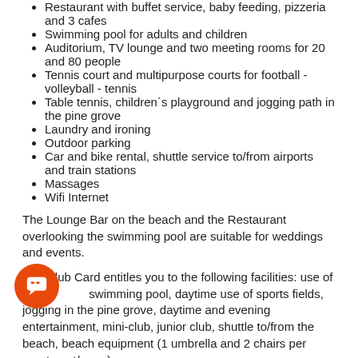Restaurant with buffet service, baby feeding, pizzeria and 3 cafes
Swimming pool for adults and children
Auditorium, TV lounge and two meeting rooms for 20 and 80 people
Tennis court and multipurpose courts for football - volleyball - tennis
Table tennis, children´s playground and jogging path in the pine grove
Laundry and ironing
Outdoor parking
Car and bike rental, shuttle service to/from airports and train stations
Massages
Wifi Internet
The Lounge Bar on the beach and the Restaurant overlooking the swimming pool are suitable for weddings and events.
The Club Card entitles you to the following facilities: use of the swimming pool, daytime use of sports fields, jogging in the pine grove, daytime and evening entertainment, mini-club, junior club, shuttle to/from the beach, beach equipment (1 umbrella and 2 chairs per apartment/room).